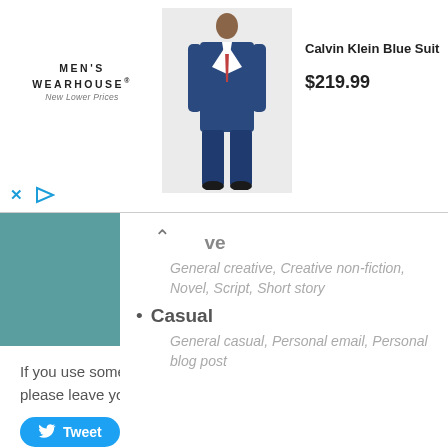[Figure (other): Men's Wearhouse advertisement banner showing a man in a Calvin Klein Blue Suit priced at $219.99]
Creative — General creative, Creative non-fiction, Novel, Script, Short story
Casual — General casual, Personal email, Personal blog post
If you use something like Grammarly, and find it superior, please leave your valuable feedback in the comments below.
Tweet
FILED UNDER: CREATE